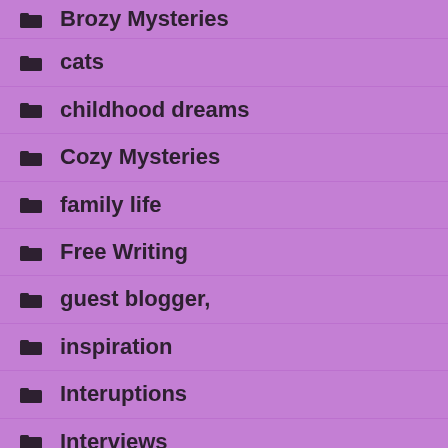Brozy Mysteries
cats
childhood dreams
Cozy Mysteries
family life
Free Writing
guest blogger,
inspiration
Interuptions
Interviews